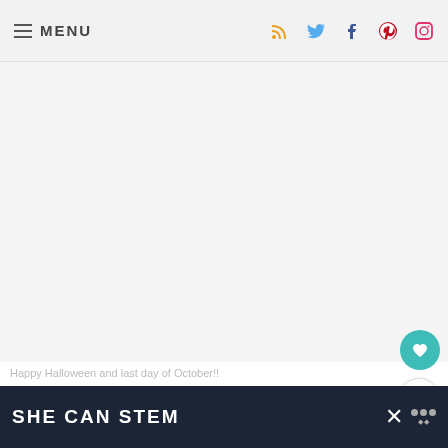MENU
[Figure (photo): Large main content image area, mostly white/blank]
[Figure (other): What's Next card with thumbnail image of Brown Butter Ginger Appl... recipe]
Happy Halloween and last day of October!!
[Figure (screenshot): SHE CAN STEM advertisement banner in dark navy background]